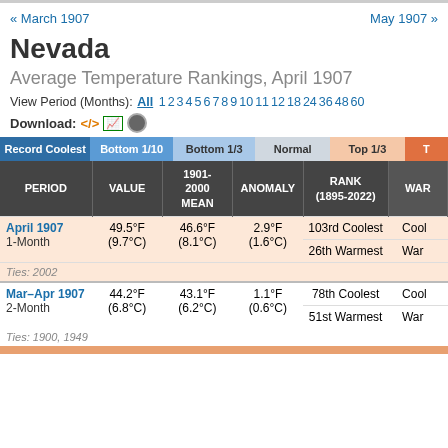« March 1907    May 1907 »
Nevada
Average Temperature Rankings, April 1907
View Period (Months): All 1 2 3 4 5 6 7 8 9 10 11 12 18 24 36 48 60
Download:
| PERIOD | VALUE | 1901-2000 MEAN | ANOMALY | RANK (1895-2022) | WAR... |
| --- | --- | --- | --- | --- | --- |
| April 1907 1-Month | 49.5°F (9.7°C) | 46.6°F (8.1°C) | 2.9°F (1.6°C) | 103rd Coolest | Cool... |
|  |  |  |  | 26th Warmest | War... |
| Ties: 2002 |  |  |  |  |  |
| Mar–Apr 1907 2-Month | 44.2°F (6.8°C) | 43.1°F (6.2°C) | 1.1°F (0.6°C) | 78th Coolest | Cool... |
|  |  |  |  | 51st Warmest | War... |
| Ties: 1900, 1949 |  |  |  |  |  |